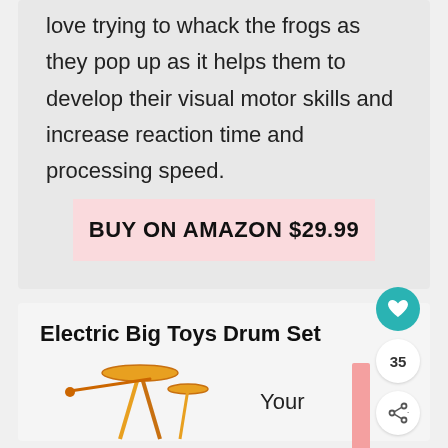love trying to whack the frogs as they pop up as it helps them to develop their visual motor skills and increase reaction time and processing speed.
BUY ON AMAZON $29.99
Electric Big Toys Drum Set
[Figure (illustration): Partial illustration of a toy drum set with cymbal and drumstick]
Your